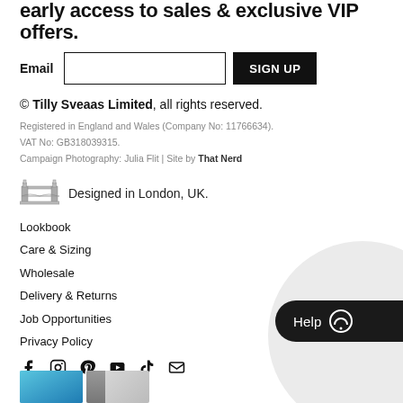early access to sales & exclusive VIP offers.
Email  [input]  SIGN UP
© Tilly Sveaas Limited, all rights reserved.
Registered in England and Wales (Company No: 11766634).
VAT No: GB318039315.
Campaign Photography: Julia Flit | Site by That Nerd
[Figure (illustration): Tower Bridge icon]
Designed in London, UK.
Lookbook
Care & Sizing
Wholesale
Delivery & Returns
Job Opportunities
Privacy Policy
[Figure (illustration): Social media icons: Facebook, Instagram, Pinterest, YouTube, TikTok, Email]
[Figure (illustration): Help chat button in bottom right corner]
[Figure (photo): Two small thumbnail images at the bottom]